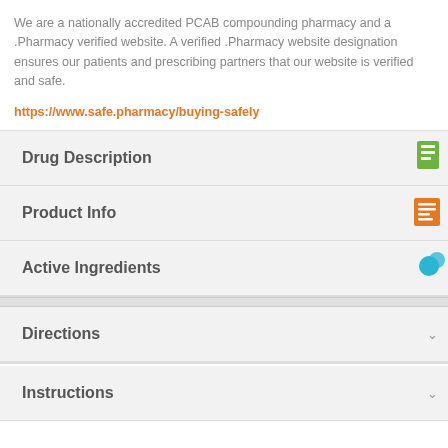We are a nationally accredited PCAB compounding pharmacy and a .Pharmacy verified website. A verified .Pharmacy website designation ensures our patients and prescribing partners that our website is verified and safe.
https://www.safe.pharmacy/buying-safely
Drug Description
Product Info
Active Ingredients
Directions
Instructions